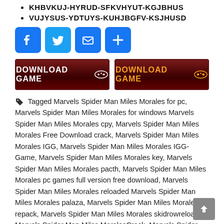KHBVKUJ-HYRUD-SFKVHYUT-KGJBHUS
VUJYSUS-YDTUYS-KUHJBGFV-KSJHUSD
[Figure (other): Social share buttons: Facebook, Twitter, Email, Share (plus icon)]
[Figure (other): Two download game buttons with red dark background and gamepad icon. Left button has white text, right button has orange text.]
Tagged Marvels Spider Man Miles Morales for pc, Marvels Spider Man Miles Morales for windows Marvels Spider Man Miles Morales cpy, Marvels Spider Man Miles Morales Free Download crack, Marvels Spider Man Miles Morales IGG, Marvels Spider Man Miles Morales IGG-Game, Marvels Spider Man Miles Morales key, Marvels Spider Man Miles Morales pacth, Marvels Spider Man Miles Morales pc games full version free download, Marvels Spider Man Miles Morales reloaded Marvels Spider Man Miles Morales palaza, Marvels Spider Man Miles Morales repack, Marvels Spider Man Miles Morales skidrowreloaded, Marvels Spider Man Miles MoralesCrack, Marvels Spider Man Miles Moralestorrent